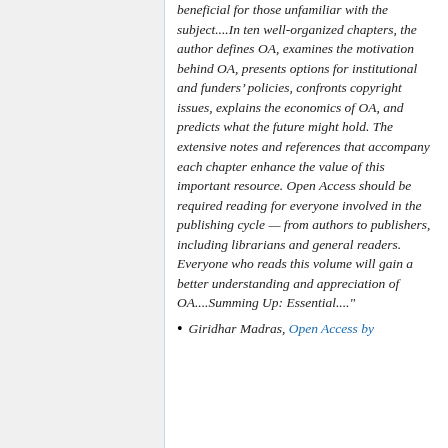beneficial for those unfamiliar with the subject....In ten well-organized chapters, the author defines OA, examines the motivation behind OA, presents options for institutional and funders' policies, confronts copyright issues, explains the economics of OA, and predicts what the future might hold. The extensive notes and references that accompany each chapter enhance the value of this important resource. Open Access should be required reading for everyone involved in the publishing cycle — from authors to publishers, including librarians and general readers. Everyone who reads this volume will gain a better understanding and appreciation of OA....Summing Up: Essential....
Giridhar Madras, Open Access by